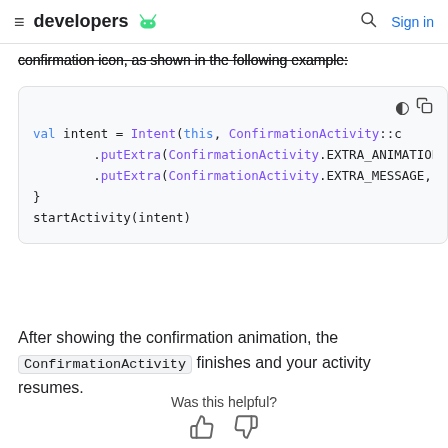≡ developers [android logo] [search] Sign in
confirmation icon, as shown in the following example:
[Figure (screenshot): Code block showing Kotlin code: val intent = Intent(this, ConfirmationActivity::c ..., putExtra(ConfirmationActivity.EXTRA_ANIMATION ..., putExtra(ConfirmationActivity.EXTRA_MESSAGE, ..., }, startActivity(intent)]
After showing the confirmation animation, the ConfirmationActivity finishes and your activity resumes.
Was this helpful?